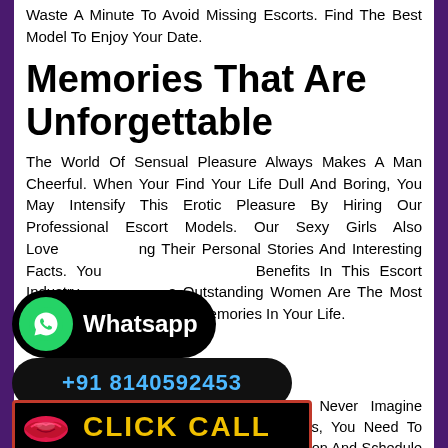Waste A Minute To Avoid Missing Escorts. Find The Best Model To Enjoy Your Date.
Memories That Are Unforgettable
The World Of Sensual Pleasure Always Makes A Man Cheerful. When Your Find Your Life Dull And Boring, You May Intensify This Erotic Pleasure By Hiring Our Professional Escort Models. Our Sexy Girls Also Love [Shar]ing Their Personal Stories And Interesting Facts. You [Can Get] Benefits In This Escort Industry. [Thes]e Outstanding Women Are The Most Buzzing Babes [To Mak]e Memories In Your Life.
[Figure (other): WhatsApp button with green circle icon and white label 'Whatsapp' on black rounded rectangle]
[Figure (other): Phone number button: +91 8140592453 in blue text on black rounded rectangle]
Until You Hire Our Escorts, You Can Never Imagine How [Great Is] The Hotness, You Need To Give [A Try To Escort]s. Click The Book Now Button And Schedule A Time To Avail Entertainment From Them.
[Figure (other): CLICK CALL button with lips icon on black background with red border]